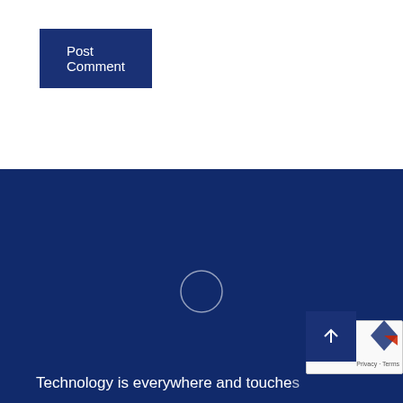Post Comment
[Figure (other): Loading circle icon on dark blue background]
Technology is everywhere and touches
[Figure (other): Scroll to top button with upward arrow and reCAPTCHA badge]